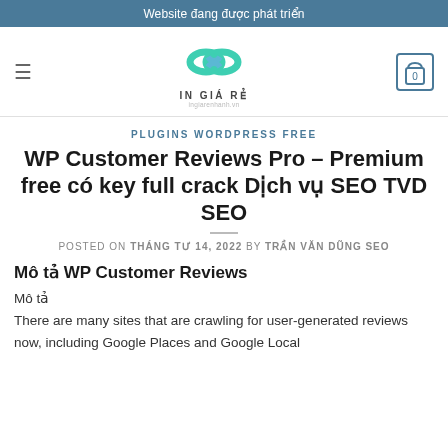Website đang được phát triển
[Figure (logo): In Giá Rẻ logo with teal infinity knot symbol and text]
PLUGINS WORDPRESS FREE
WP Customer Reviews Pro – Premium free có key full crack Dịch vụ SEO TVD SEO
POSTED ON THÁNG TƯ 14, 2022 BY TRẦN VĂN DŨNG SEO
Mô tả WP Customer Reviews
Mô tả
There are many sites that are crawling for user-generated reviews now, including Google Places and Google Local